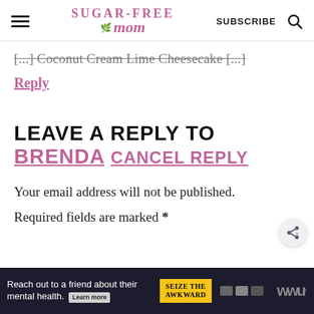Sugar-Free Mom — SUBSCRIBE [search icon]
[...] Coconut Cream Lime Cheesecake [...]
Reply
LEAVE A REPLY TO BRENDA CANCEL REPLY
Your email address will not be published. Required fields are marked *
[Figure (other): Advertisement banner: 'Reach out to a friend about their mental health. Learn more' with 'SEIZE THE AWKWARD' badge and media logos]